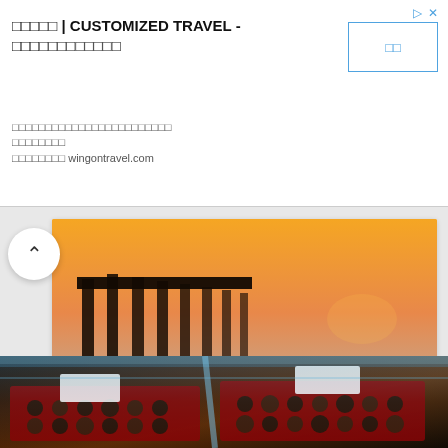[Figure (screenshot): Advertisement banner for customized travel service. Shows Chinese characters with text 'CUSTOMIZED TRAVEL' and domain wingontravel.com, with a blue bordered button on the right.]
[Figure (photo): Advertisement card showing a person standing in shallow ocean water at sunset near a pier, with text 'Fastest Apply Process' and 'Medical Solutions' and a dark circular arrow button.]
Fastest Apply Process
Medical Solutions
[Figure (photo): Photo of a bakery or deli glass display case filled with chocolates, truffles, and pastries in red trays with small label cards.]